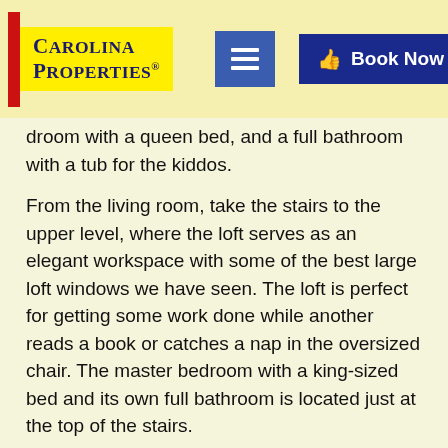Carolina Properties® [navigation icon] [Book Now button]
droom with a queen bed, and a full bathroom with a tub for the kiddos.
From the living room, take the stairs to the upper level, where the loft serves as an elegant workspace with some of the best large loft windows we have seen. The loft is perfect for getting some work done while another reads a book or catches a nap in the oversized chair. The master bedroom with a king-sized bed and its own full bathroom is located just at the top of the stairs.
In the lower level, you'll find the home's second living room, a television, an extensive book collection for your reading pleasure, and ample room for the kids. Also downstairs is the third bedroom with another queen bed and a full bathroom. The laundry facilities are also located